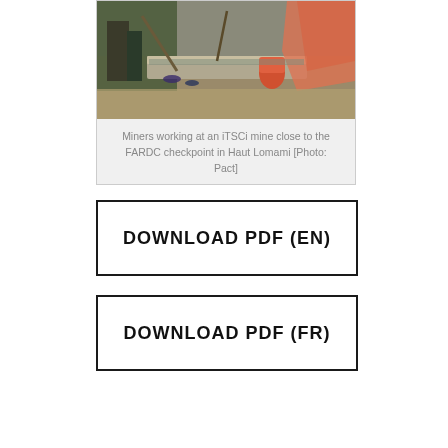[Figure (photo): Miners working at a mining site with tools and equipment, orange plastic sheet visible]
Miners working at an iTSCi mine close to the FARDC checkpoint in Haut Lomami [Photo: Pact]
DOWNLOAD PDF (EN)
DOWNLOAD PDF (FR)